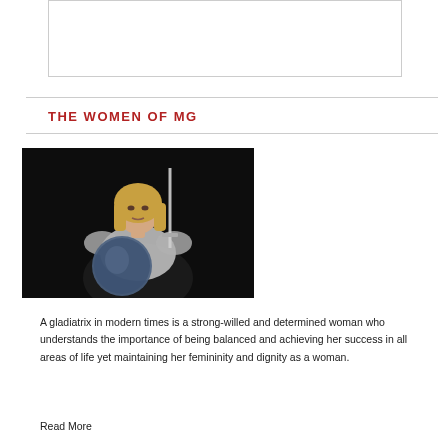[Figure (other): Empty white box with thin border at top of page]
THE WOMEN OF MG
[Figure (photo): A woman in medieval knight armor holding a shield and sword, with blonde hair, photographed against a dark black background]
A gladiatrix in modern times is a strong-willed and determined woman who understands the importance of being balanced and achieving her success in all areas of life yet maintaining her femininity and dignity as a woman.
Read More